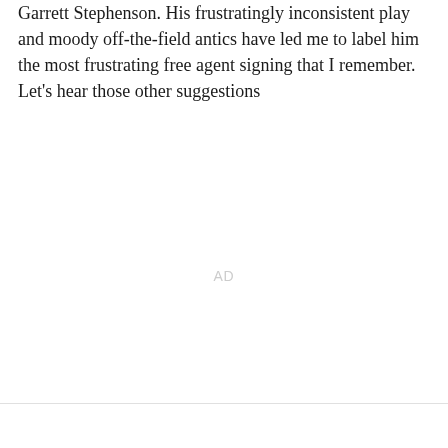Garrett Stephenson. His frustratingly inconsistent play and moody off-the-field antics have led me to label him the most frustrating free agent signing that I remember. Let's hear those other suggestions
AD